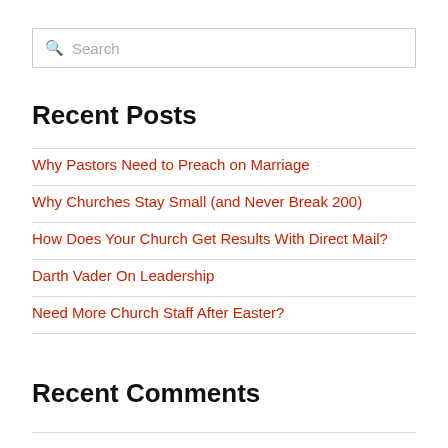Search
Recent Posts
Why Pastors Need to Preach on Marriage
Why Churches Stay Small (and Never Break 200)
How Does Your Church Get Results With Direct Mail?
Darth Vader On Leadership
Need More Church Staff After Easter?
Recent Comments